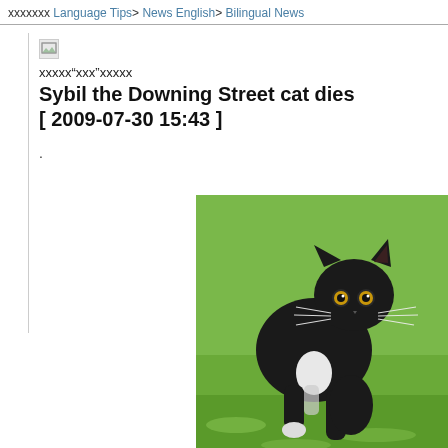xxxxxxx Language Tips> News English> Bilingual News
[Figure (photo): Broken image icon placeholder]
xxxxx"xxx"xxxxx
Sybil the Downing Street cat dies
[ 2009-07-30 15:43 ]
.
[Figure (photo): Photo of a black and white cat walking on green grass, looking toward the camera]